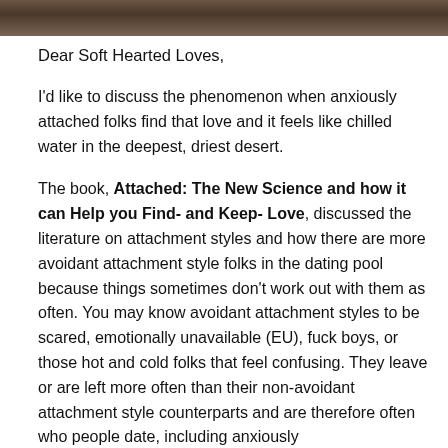[Figure (photo): Partial photo strip at top of page, showing what appears to be a dark/warm-toned image cropped at the bottom]
Dear Soft Hearted Loves,
I'd like to discuss the phenomenon when anxiously attached folks find that love and it feels like chilled water in the deepest, driest desert.
The book, Attached: The New Science and how it can Help you Find- and Keep- Love, discussed the literature on attachment styles and how there are more avoidant attachment style folks in the dating pool because things sometimes don't work out with them as often. You may know avoidant attachment styles to be scared, emotionally unavailable (EU), fuck boys, or those hot and cold folks that feel confusing. They leave or are left more often than their non-avoidant attachment style counterparts and are therefore often who people date, including anxiously